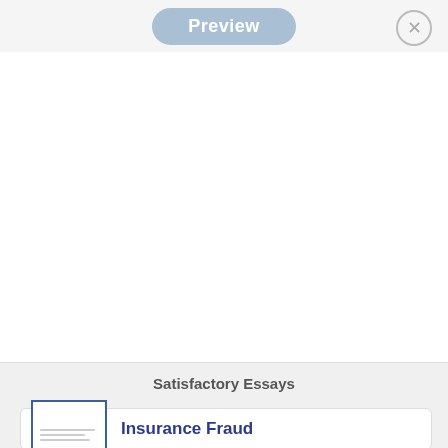Preview
Satisfactory Essays
Insurance Fraud